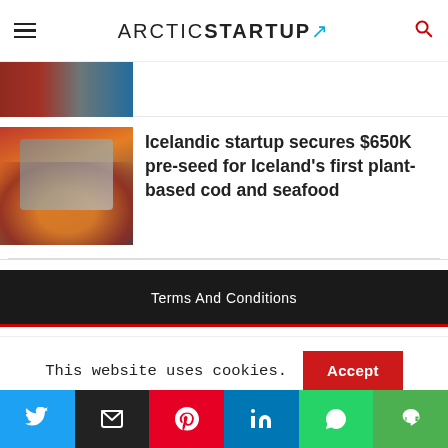ARCTIC STARTUP
[Figure (photo): Partial image of people visible at top of article listing]
Icelandic startup secures $650K pre-seed for Iceland's first plant-based cod and seafood
[Figure (photo): Food photo showing cooked salmon or fish dish with pomegranate seeds and herbs in dark bowl]
Terms And Conditions
This website uses cookies.
[Figure (infographic): Social media share buttons row: Twitter, Email, Pinterest, LinkedIn, WhatsApp, Line]